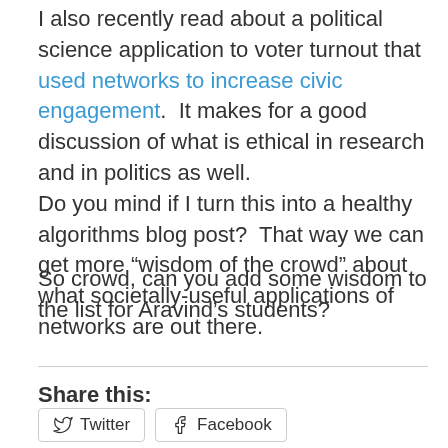I also recently read about a political science application to voter turnout that used networks to increase civic engagement.  It makes for a good discussion of what is ethical in research and in politics as well.
Do you mind if I turn this into a healthy algorithms blog post?  That way we can get more “wisdom of the crowd” about what societally-useful applications of networks are out there.
So crowd, can you add some wisdom to the list for Aravind’s students?
Share this:
Twitter   Facebook
Like